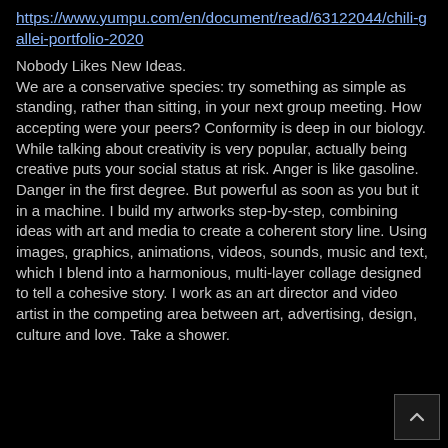https://www.yumpu.com/en/document/read/63122044/chili-gallei-portfolio-2020
Nobody Likes New Ideas. We are a conservative species: try something as simple as standing, rather than sitting, in your next group meeting. How accepting were your peers? Conformity is deep in our biology. While talking about creativity is very popular, actually being creative puts your social status at risk. Anger is like gasoline. Danger in the first degree. But powerful as soon as you but it in a machine. I build my artworks step-by-step, combining ideas with art and media to create a coherent story line. Using images, graphics, animations, videos, sounds, music and text, which I blend into a harmonious, multi-layer collage designed to tell a cohesive story. I work as an art director and video artist in the competing area between art, advertising, design, culture and love. Take a shower.